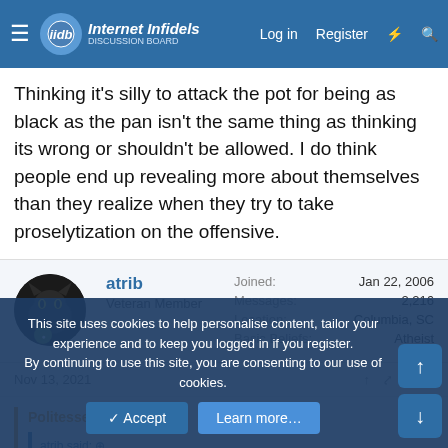Internet Infidels — Log in | Register
Thinking it's silly to attack the pot for being as black as the pan isn't the same thing as thinking its wrong or shouldn't be allowed. I do think people end up revealing more about themselves than they realize when they try to take proselytization on the offensive.
atrib
Veteran Member
Joined: Jan 22, 2006
Messages: 2,216
Location: Columbia, SC
Basic Beliefs: Atheist
Nov 13, 2021  #255
Politesse said:
This site uses cookies to help personalise content, tailor your experience and to keep you logged in if you register.
By continuing to use this site, you are consenting to our use of cookies.